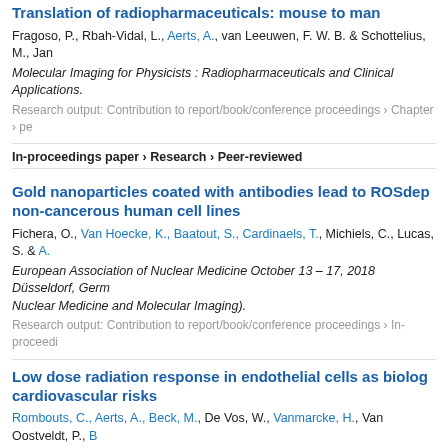Translation of radiopharmaceuticals: mouse to man
Fragoso, P., Rbah-Vidal, L., Aerts, A., van Leeuwen, F. W. B. & Schottelius, M., Jan
Molecular Imaging for Physicists : Radiopharmaceuticals and Clinical Applications.
Research output: Contribution to report/book/conference proceedings › Chapter › pe
In-proceedings paper › Research › Peer-reviewed
Gold nanoparticles coated with antibodies lead to ROSdep non-cancerous human cell lines
Fichera, O., Van Hoecke, K., Baatout, S., Cardinaels, T., Michiels, C., Lucas, S. & A.
European Association of Nuclear Medicine October 13 – 17, 2018 Düsseldorf, Germ
Nuclear Medicine and Molecular Imaging).
Research output: Contribution to report/book/conference proceedings › In-proceedi
Low dose radiation response in endothelial cells as biolog cardiovascular risks
Rombouts, C., Aerts, A., Beck, M., De Vos, W., Vanmarcke, H., Van Oostveldt, P., B
Annalen van de Belgische Vereniging voor Stralingsbescherming. Belgium, p. 289-2
Research output: Contribution to report/book/conference proceedings › In-proceedi
Radiolabeling of Gold Nanoparticles With Lu-177 as a Platt
Daems, N., Ooms, M., Cardinaels, T., Baatout, S., Michiels, C., Lucas, S. & Aerts, A.
European Association of Nuclear Medicine October 12 – 16, 2019 Barcelona, Spain
Journal of Nuclear Medicine and Molecular Imaging).